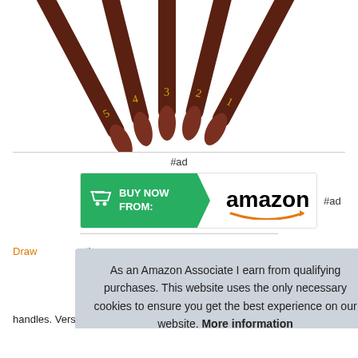[Figure (photo): Five painting knives/palette knives with dark brown wooden handles arranged in a fan shape, numbered 1-5 in gold. Metal tips visible at top.]
#ad
[Figure (other): Buy Now From Amazon button - green arrow button with shopping cart icon on left and Amazon logo with orange smile on white background on right]
#ad
As an Amazon Associate I earn from qualifying purchases. This website uses the only necessary cookies to ensure you get the best experience on our website. More information
handles. Versatile set - this 5-piece painting knife set includes